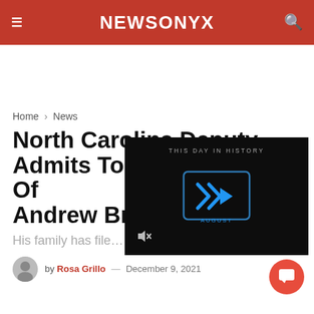NEWSONYX
Home > News
North Carolina Deputy Admits To Fatal Shooting Of Andrew Br…
His family has file…
[Figure (screenshot): Dark video player overlay showing 'THIS DAY IN HISTORY' with blue play icon and 'AUGUST' label, with mute button in lower left]
by Rosa Grillo — December 9, 2021